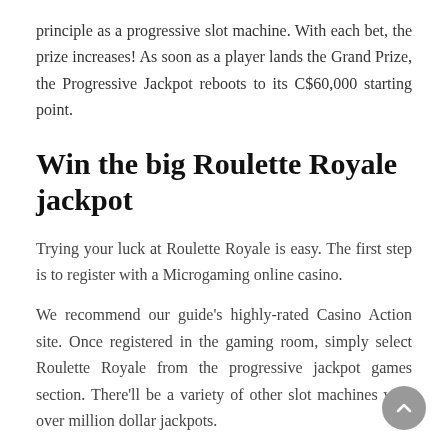principle as a progressive slot machine. With each bet, the prize increases! As soon as a player lands the Grand Prize, the Progressive Jackpot reboots to its C$60,000 starting point.
Win the big Roulette Royale jackpot
Trying your luck at Roulette Royale is easy. The first step is to register with a Microgaming online casino.
We recommend our guide's highly-rated Casino Action site. Once registered in the gaming room, simply select Roulette Royale from the progressive jackpot games section. There'll be a variety of other slot machines with over million dollar jackpots.
To bet on the Roulette Royale game, place a single dollar credit in the Jackpot Box. Next, you'll need to place a bet on the Roulette table. Dollars wagered on the jackpot are